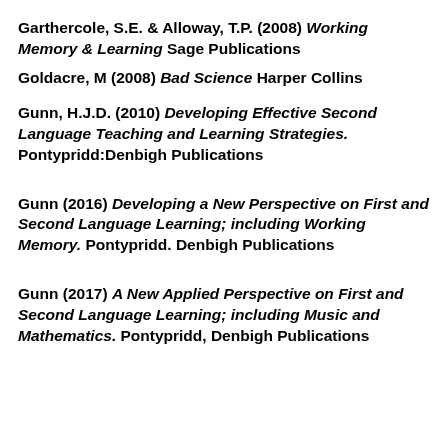Garthercole, S.E. & Alloway, T.P. (2008) Working Memory & Learning Sage Publications
Goldacre, M (2008) Bad Science Harper Collins
Gunn, H.J.D. (2010) Developing Effective Second Language Teaching and Learning Strategies. Pontypridd:Denbigh Publications
Gunn (2016) Developing a New Perspective on First and Second Language Learning; including Working Memory. Pontypridd. Denbigh Publications
Gunn (2017) A New Applied Perspective on First and Second Language Learning; including Music and Mathematics. Pontypridd, Denbigh Publications